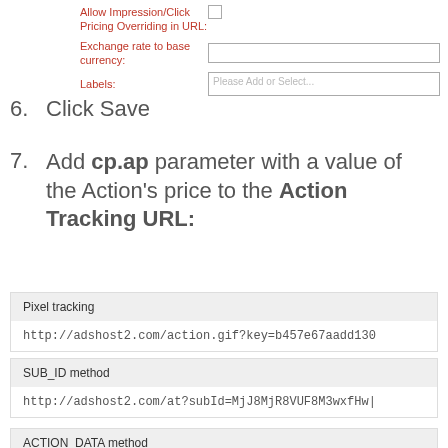[Figure (screenshot): Form section with fields: Allow Impression/Click Pricing Overriding in URL (checkbox), Exchange rate to base currency (text input), Labels (placeholder input 'Please Add or Select...')]
6. Click Save
7. Add cp.ap parameter with a value of the Action's price to the Action Tracking URL:
| Pixel tracking |  |
| --- | --- |
| http://adshost2.com/action.gif?key=b457e67aadd130 |  |
| SUB_ID method |  |
| --- | --- |
| http://adshost2.com/at?subId=MjJ8MjR8VUF8M3wxfHw| |  |
| ACTION_DATA method |  |
| --- | --- |